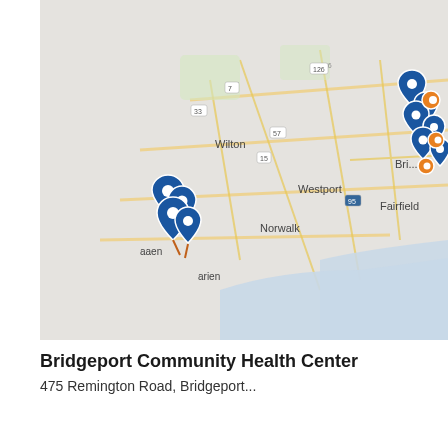[Figure (map): Google Maps view of the Fairfield County, Connecticut area showing Wilton, Westport, Norwalk, Fairfield, Bridgeport, and surrounding areas. Multiple blue map pin markers clustered in upper-right area near Bridgeport, and a cluster of blue pins in lower-left area. Several orange/amber circular markers also visible near Bridgeport.]
Bridgeport Community Health Center
475 Remington Road, Bridgeport...